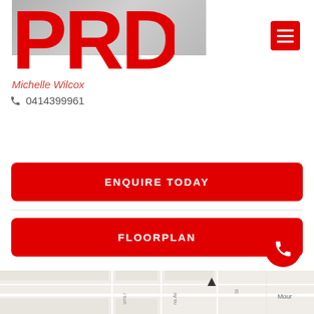[Figure (photo): Hero background image (greyscale photo) partially visible behind PRD logo]
[Figure (logo): PRD. real estate logo in red]
Michelle Wilcox
0414399961
ENQUIRE TODAY
FLOORPLAN
[Figure (map): Street map showing local area with road names partially visible: urra (street), na Av, St, Mour]